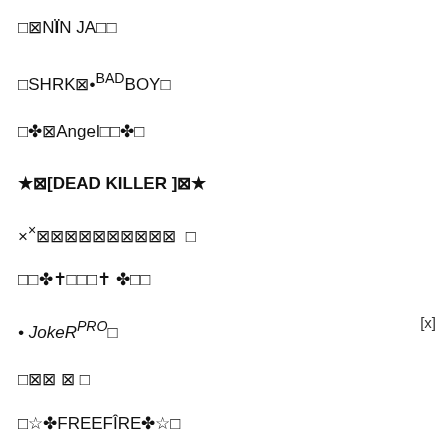□⊠NÏN ЈA□□
□SHRK⊠•ᴮᴬᴰBOY□
□✤⊠Angel□□✤□
★⊠[DEAD KILLER ]⊠★
×ˣ⊠⊠⊠⊠⊠⊠⊠⊠⊠⊠  □
□□✤✝□□□✝ ✤□□
• JoKeRᴾᴿᴼ□
□⊠⊠ ⊠ □
□☆✤FREEFÎRE✤☆□
[x]